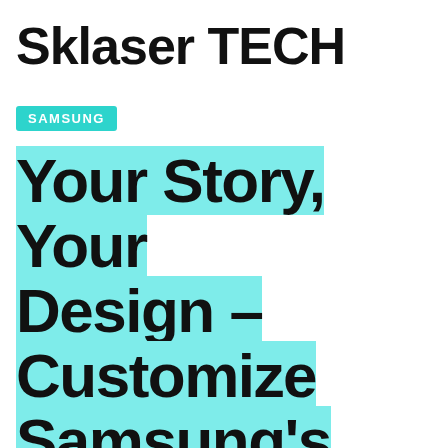Sklaser TECH
SAMSUNG
Your Story, Your Design – Customize Samsung's Bespoke Refrigerators with